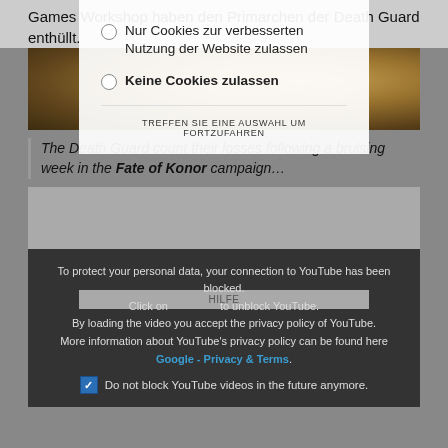Games Workshop haben den Primarchen der Death Guard enthüllt.
[Figure (illustration): Dark fantasy illustration with warm golden tones, showing a dramatic scene from the Death Guard faction.]
The Death Guard count their losses following a bruising week in the Fate of Konor campaign…
[Figure (other): Gray advertisement placeholder block]
To protect your personal data, your connection to YouTube has been blocked. Click on to unblock YouTube. By loading the video you accept the privacy policy of YouTube. More information about YouTube's privacy policy can be found here Google - Privacy & Terms. Do not block YouTube videos in the future anymore.
Nur Cookies zur verbesserten Nutzung der Website zulassen
Keine Cookies zulassen
TREFFEN SIE EINE AUSWAHL UM FORTZUFAHREN
HILFE